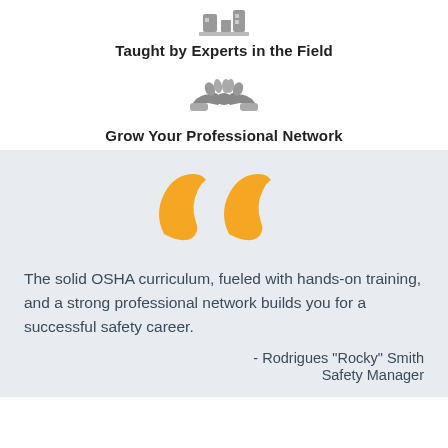[Figure (illustration): Gray icon of a person at a desk or industrial equipment at top of page]
Taught by Experts in the Field
[Figure (illustration): Gray icon of two hands shaking (handshake) representing professional networking]
Grow Your Professional Network
[Figure (illustration): Large orange decorative double quotation mark symbol]
The solid OSHA curriculum, fueled with hands-on training, and a strong professional network builds you for a successful safety career.
- Rodrigues "Rocky" Smith Safety Manager